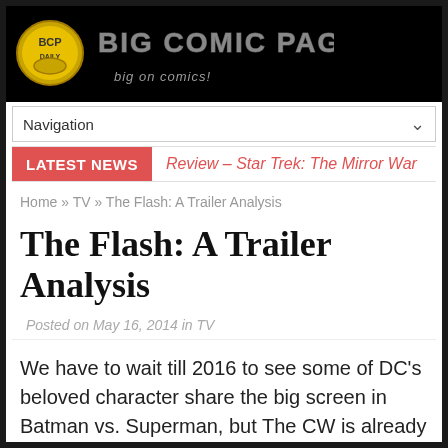Big Comic Page - big on comics!
Navigation
LATEST NEWS  Review – Star Trek: The Mirror War
Home » TV » The Flash: A Trailer Analysis
The Flash: A Trailer Analysis
Posted on May 16, 2014 in TV
We have to wait till 2016 to see some of DC's beloved character share the big screen in Batman vs. Superman, but The CW is already on